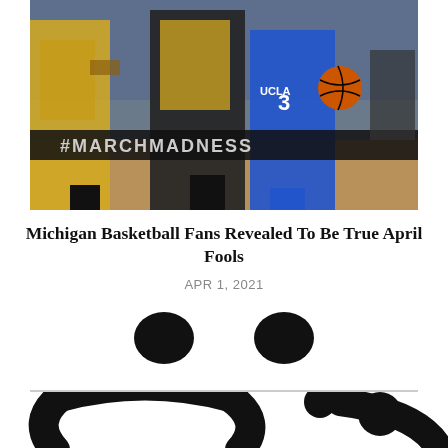[Figure (photo): Basketball game photo showing Michigan players in yellow uniforms and a UCLA player (#3) in blue uniform driving with the ball during what appears to be March Madness tournament. #MARCHMADNESS signage visible in background.]
Michigan Basketball Fans Revealed To Be True April Fools
APR 1, 2021
[Figure (other): Large crying/sad face emoji illustration in black and white, partially cropped at bottom of page]